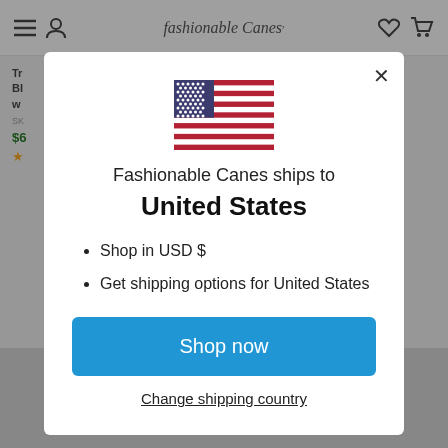fashionable Canes
[Figure (screenshot): US flag icon centered in modal]
Fashionable Canes ships to
United States
Shop in USD $
Get shipping options for United States
Shop now
Change shipping country